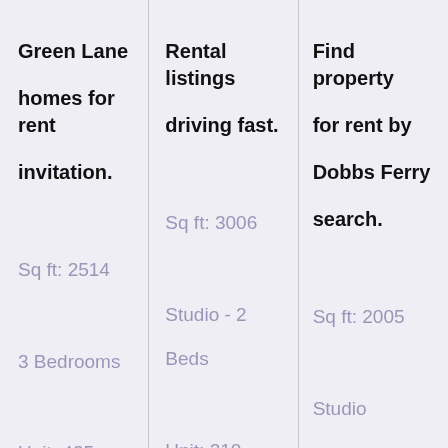Green Lane homes for rent invitation.
Sq ft: 2514
3 Bedrooms
Unit: 435
Rental listings driving fast.
Sq ft: 3006
Studio - 2 Beds
Unit: 210
Find property for rent by Dobbs Ferry search.
Sq ft: 2005
Studio